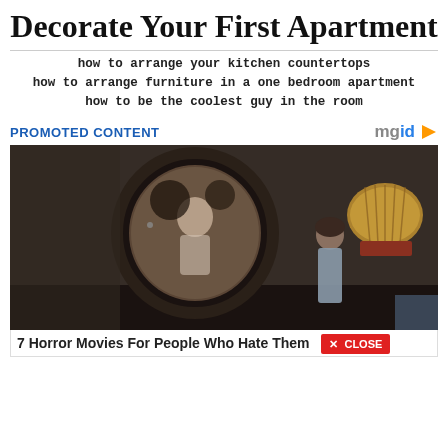Decorate Your First Apartment
how to arrange your kitchen countertops
how to arrange furniture in a one bedroom apartment
how to be the coolest guy in the room
PROMOTED CONTENT
[Figure (photo): Dark atmospheric room with an oval mirror on the wall showing a ghostly reflection; a young woman stands facing the mirror; a dome lamp on the right side.]
7 Horror Movies For People Who Hate Them